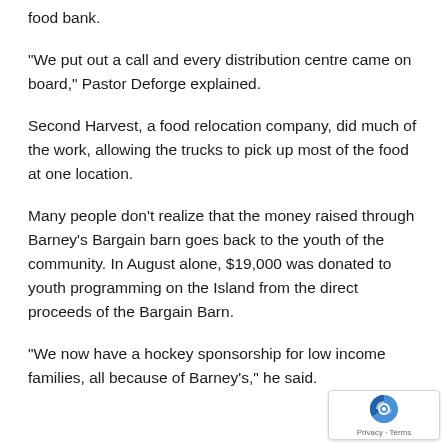food bank.
“We put out a call and every distribution centre came on board,” Pastor Deforge explained.
Second Harvest, a food relocation company, did much of the work, allowing the trucks to pick up most of the food at one location.
Many people don’t realize that the money raised through Barney’s Bargain barn goes back to the youth of the community. In August alone, $19,000 was donated to youth programming on the Island from the direct proceeds of the Bargain Barn.
“We now have a hockey sponsorship for low income families, all because of Barney’s,” he said.
[Figure (logo): reCAPTCHA badge with Privacy and Terms links]